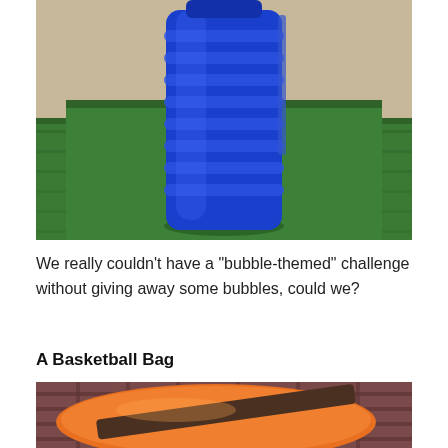[Figure (photo): A large blue ribbed water bottle sitting on artificial green grass/turf mat against a light wall background.]
We really couldn't have a “bubble-themed” challenge without giving away some bubbles, could we?
A Basketball Bag
[Figure (photo): An orange sports bag with dark brown/grey reflective straps, sitting on a plaid/checkered fabric background.]